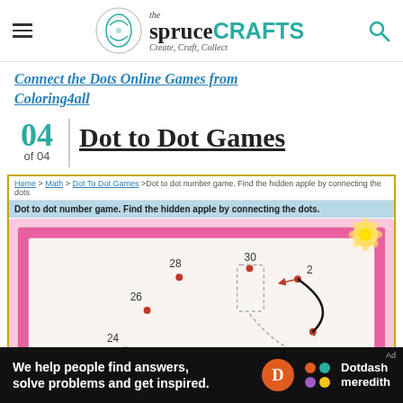the spruceCRAFTS - Create, Craft, Collect
Connect the Dots Online Games from Coloring4all
04 of 04 | Dot to Dot Games
[Figure (screenshot): Screenshot of a dot-to-dot number game website (Coloring4all) showing numbered dots (24, 26, 28, 30, 2, 4) with some connected by lines and dashed lines forming a hidden apple shape, framed in pink border with a yellow flower decoration in top right corner.]
We help people find answers, solve problems and get inspired. Dotdash meredith